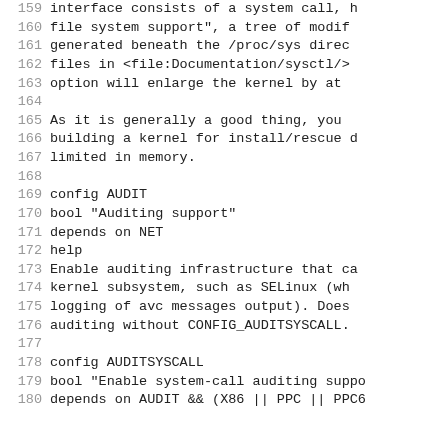159   interface consists of a system call, h
160       file system support", a tree of modif
161       generated beneath the /proc/sys direc
162       files in <file:Documentation/sysctl/>
163       option will enlarge the kernel by at 
164
165       As it is generally a good thing, you 
166       building a kernel for install/rescue d
167       limited in memory.
168
169 config AUDIT
170       bool "Auditing support"
171       depends on NET
172       help
173         Enable auditing infrastructure that ca
174         kernel subsystem, such as SELinux (wh
175         logging of avc messages output). Does
176         auditing without CONFIG_AUDITSYSCALL.
177
178 config AUDITSYSCALL
179       bool "Enable system-call auditing suppo
180       depends on AUDIT && (X86 || PPC || PPC6